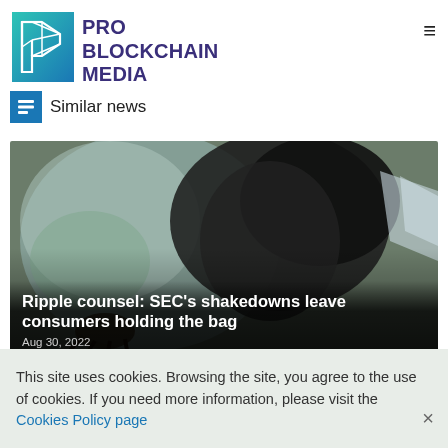PRO BLOCKCHAIN MEDIA
Similar news
[Figure (photo): Close-up photo of a dark bird or animal near a car windshield, with blurred green background]
Ripple counsel: SEC's shakedowns leave consumers holding the bag
Aug 30, 2022
This site uses cookies. Browsing the site, you agree to the use of cookies. If you need more information, please visit the Cookies Policy page